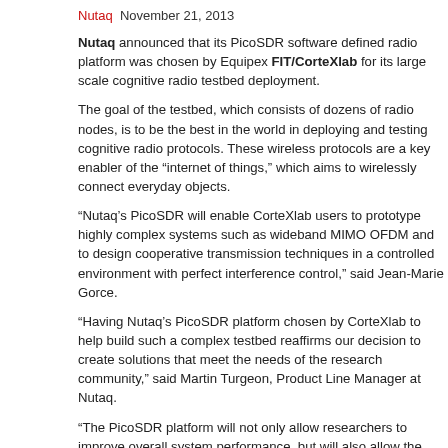Nutaq  November 21, 2013
Nutaq announced that its PicoSDR software defined radio platform was chosen by Equipex FIT/CorteXlab for its large scale cognitive radio testbed deployment.
The goal of the testbed, which consists of dozens of radio nodes, is to be the best in the world in deploying and testing cognitive radio protocols. These wireless protocols are a key enabler of the "internet of things," which aims to wirelessly connect everyday objects.
"Nutaq's PicoSDR will enable CorteXlab users to prototype highly complex systems such as wideband MIMO OFDM and to design cooperative transmission techniques in a controlled environment with perfect interference control," said Jean-Marie Gorce.
"Having Nutaq's PicoSDR platform chosen by CorteXlab to help build such a complex testbed reaffirms our decision to create solutions that meet the needs of the research community," said Martin Turgeon, Product Line Manager at Nutaq.
"The PicoSDR platform will not only allow researchers to improve overall system performance, but will also allow the CorteXlab team to seamlessly support future technology evolution, in an easy, cost-effective manner."
For more details please visit http://www.nutaq.com/en/news/nutaq-picosdr-chosen-fit-cortexlab-cognitive-radio-testbed.